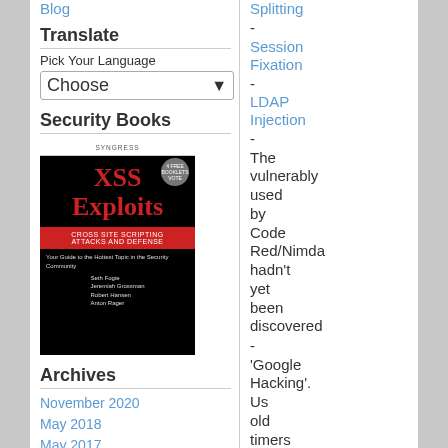Blog
Translate
Pick Your Language
Choose
Security Books
[Figure (photo): Book cover: XSS Exploits - Cross Site Scripting Attacks and Defense]
Archives
November 2020
May 2018
May 2017
December 2016
January 2015
November 2014
July 2014
May 2013
Splitting
-
Session Fixation
-
LDAP Injection
-
The vulnerably used by Code Red/Nimda hadn't yet been discovered
-
'Google Hacking'. Us old timers called this altavista hacking thanks to